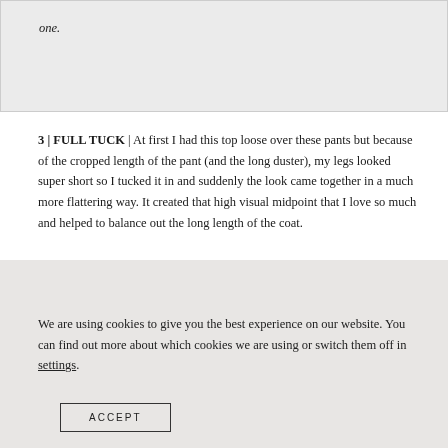one.
3 | FULL TUCK | At first I had this top loose over these pants but because of the cropped length of the pant (and the long duster), my legs looked super short so I tucked it in and suddenly the look came together in a much more flattering way. It created that high visual midpoint that I love so much and helped to balance out the long length of the coat.
We are using cookies to give you the best experience on our website. You can find out more about which cookies we are using or switch them off in settings.
ACCEPT